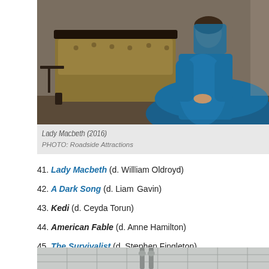[Figure (photo): A woman in a large blue Victorian-era dress sitting in a dimly lit room with ornate wooden furniture and a tufted sofa/chaise lounge in the background.]
Lady Macbeth (2016)
PHOTO: Roadside Attractions
41. Lady Macbeth (d. William Oldroyd)
42. A Dark Song (d. Liam Gavin)
43. Kedi (d. Ceyda Torun)
44. American Fable (d. Anne Hamilton)
45. The Survivalist (d. Stephen Fingleton)
[Figure (photo): Partial view of the bottom of another photo, showing what appears to be a bathroom or kitchen setting with tiled floor and metal fixtures.]